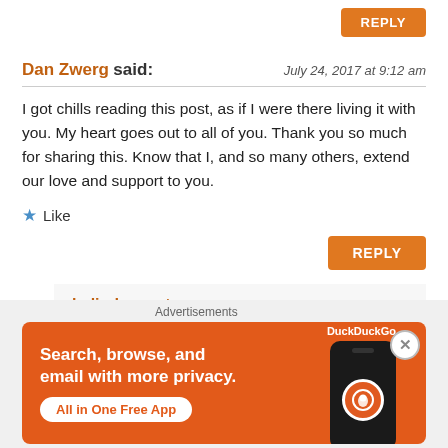REPLY
Dan Zwerg said:
July 24, 2017 at 9:12 am
I got chills reading this post, as if I were there living it with you. My heart goes out to all of you. Thank you so much for sharing this. Know that I, and so many others, extend our love and support to you.
Like
REPLY
belindagovatos responded:
August 8, 2017 at 7:38 pm
Thank you Dan. Love you madly!
[Figure (screenshot): DuckDuckGo advertisement banner: orange background with text 'Search, browse, and email with more privacy. All in One Free App' and a phone graphic with DuckDuckGo logo]